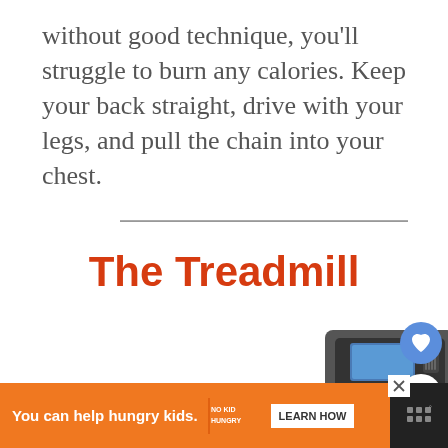without good technique, you'll struggle to burn any calories. Keep your back straight, drive with your legs, and pull the chain into your chest.
The Treadmill
[Figure (photo): Partial view of a treadmill console and upper frame]
[Figure (other): Like (heart) button, blue circular icon]
[Figure (other): Share button, circular icon with share symbol]
[Figure (other): Advertisement banner: orange background with text 'You can help hungry kids.' No Kid Hungry logo and LEARN HOW button, close X, and dark menu icon on right]